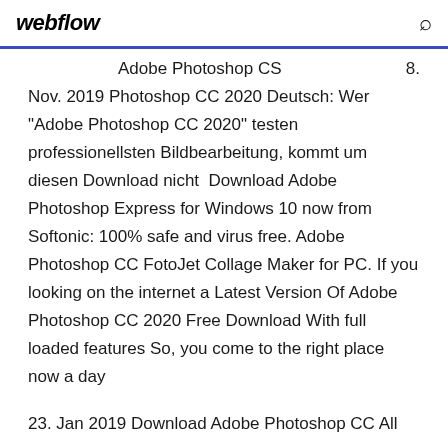webflow
Adobe Photoshop CS    8.
Nov. 2019 Photoshop CC 2020 Deutsch: Wer "Adobe Photoshop CC 2020" testen professionellsten Bildbearbeitung, kommt um diesen Download nicht  Download Adobe Photoshop Express for Windows 10 now from Softonic: 100% safe and virus free. Adobe Photoshop CC FotoJet Collage Maker for PC. If you looking on the internet a Latest Version Of Adobe Photoshop CC 2020 Free Download With full loaded features So, you come to the right place now a day
23. Jan 2019 Download Adobe Photoshop CC All